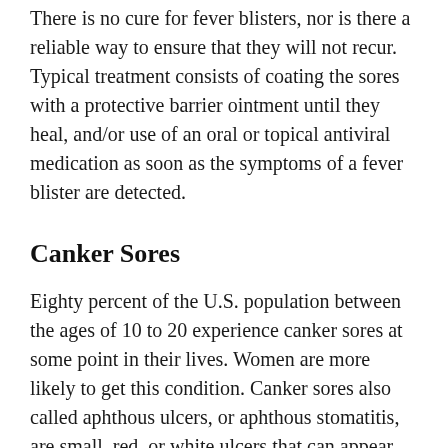There is no cure for fever blisters, nor is there a reliable way to ensure that they will not recur. Typical treatment consists of coating the sores with a protective barrier ointment until they heal, and/or use of an oral or topical antiviral medication as soon as the symptoms of a fever blister are detected.
Canker Sores
Eighty percent of the U.S. population between the ages of 10 to 20 experience canker sores at some point in their lives. Women are more likely to get this condition. Canker sores also called aphthous ulcers, or aphthous stomatitis, are small, red, or white ulcers that can appear on the tongue or inside the lips and cheeks. Canker sores can be very